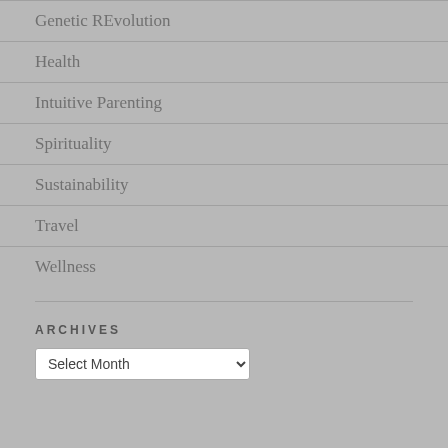Genetic REvolution
Health
Intuitive Parenting
Spirituality
Sustainability
Travel
Wellness
ARCHIVES
Select Month